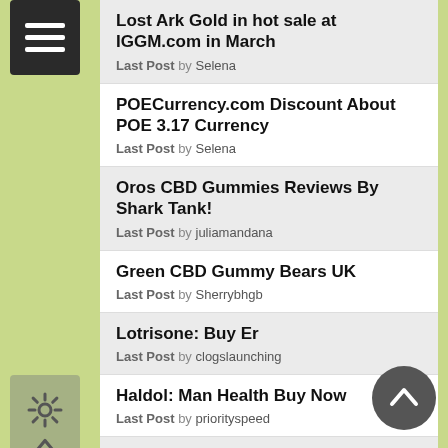Lost Ark Gold in hot sale at IGGM.com in March
Last Post by Selena
POECurrency.com Discount About POE 3.17 Currency
Last Post by Selena
Oros CBD Gummies Reviews By Shark Tank!
Last Post by juliamandana
Green CBD Gummy Bears UK
Last Post by Sherrybhgb
Lotrisone: Buy Er
Last Post by clogslaunching
Haldol: Man Health Buy Now
Last Post by priorityspeed
Toradol: No Prescription Fedex Maine
Last Post by burgercrooked
Slimex: Buying Cheap Mastercard
Last Post by desertedsale
Wellbutrin: Cheap To Buy Online
Last Post by desertedsale
Betoptic: Order Overnight Cod